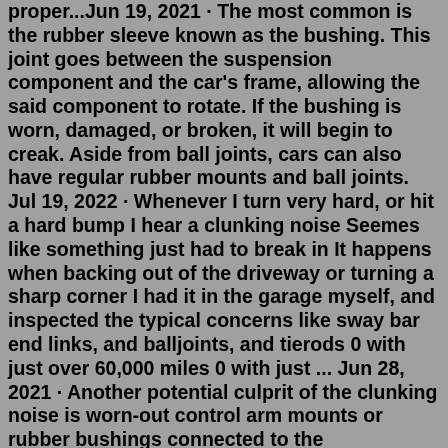proper...Jun 19, 2021 · The most common is the rubber sleeve known as the bushing. This joint goes between the suspension component and the car's frame, allowing the said component to rotate. If the bushing is worn, damaged, or broken, it will begin to creak. Aside from ball joints, cars can also have regular rubber mounts and ball joints. Jul 19, 2022 · Whenever I turn very hard, or hit a hard bump I hear a clunking noise Seemes like something just had to break in It happens when backing out of the driveway or turning a sharp corner I had it in the garage myself, and inspected the typical concerns like sway bar end links, and balljoints, and tierods 0 with just over 60,000 miles 0 with just ... Jun 28, 2021 · Another potential culprit of the clunking noise is worn-out control arm mounts or rubber bushings connected to the suspension's sway bar. One practical means of checking for rubber busing wear is to press the brake pedal firmly with an idle motor, then switch gears from park to drive to reverse. Do that while pricking your ears to any noises. Anti-sway bar links will cause